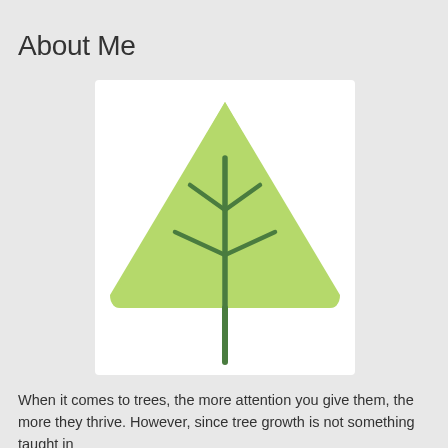About Me
[Figure (illustration): A stylized tree icon: a light green rounded triangle (tree canopy) with a darker green trunk and branch lines forming a leaf/tree silhouette.]
When it comes to trees, the more attention you give them, the more they thrive. However, since tree growth is not something taught in